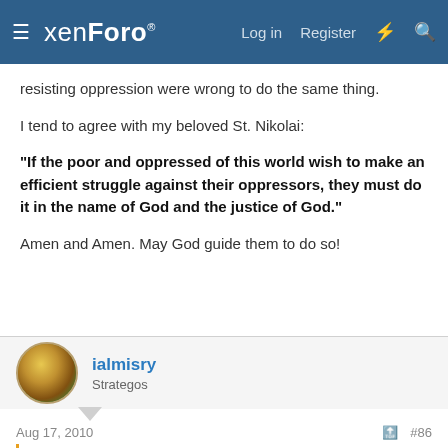xenForo  Log in  Register
resisting oppression were wrong to do the same thing.
I tend to agree with my beloved St. Nikolai:
“If the poor and oppressed of this world wish to make an efficient struggle against their oppressors, they must do it in the name of God and the justice of God.”
Amen and Amen.  May God guide them to do so!
ialmisry
Strategos
Aug 17, 2010  #86
Antonious Nikolas said: